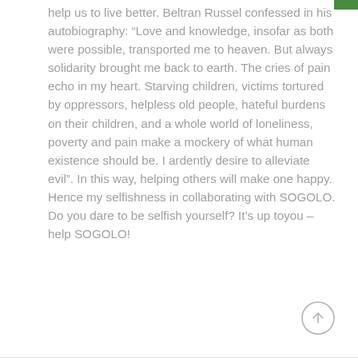help us to live better. Beltran Russel confessed in his autobiography: “Love and knowledge, insofar as both were possible, transported me to heaven. But always solidarity brought me back to earth. The cries of pain echo in my heart. Starving children, victims tortured by oppressors, helpless old people, hateful burdens on their children, and a whole world of loneliness, poverty and pain make a mockery of what human existence should be. I ardently desire to alleviate evil”. In this way, helping others will make one happy. Hence my selfishness in collaborating with SOGOLO. Do you dare to be selfish yourself? It’s up toyou – help SOGOLO!